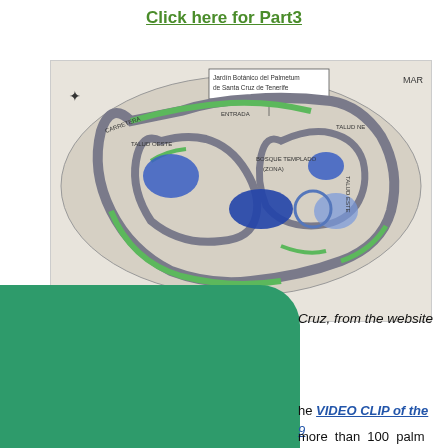Click here for Part3
[Figure (map): Map of Jardín Botánico del Palmetum de Santa Cruz de Tenerife showing garden layout with paths, ponds, and sections labeled in Spanish including TALUD OESTE, TALUD NE, TALUD SUR, TALUD ESTE, MAR, ENTRADA, CARRETERA, BOSQUE TEMPLADO, and other features.]
close
Cruz, from the website
he VIDEO CLIP of the
more than 100 palm